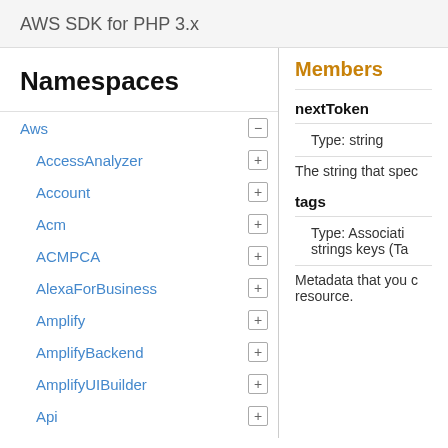AWS SDK for PHP 3.x
Namespaces
Aws
AccessAnalyzer
Account
Acm
ACMPCA
AlexaForBusiness
Amplify
AmplifyBackend
AmplifyUIBuilder
Api
ApiGateway
ApiGatewayManagementApi
Members
nextToken
Type: string
The string that spec
tags
Type: Associati strings keys (Ta
Metadata that you c resource.